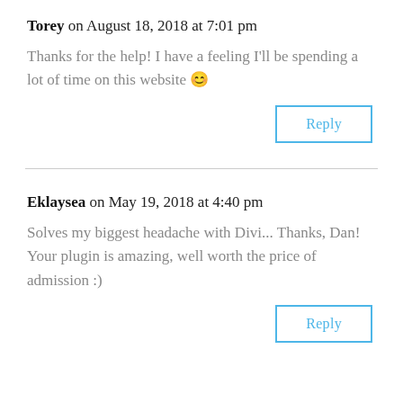Torey on August 18, 2018 at 7:01 pm
Thanks for the help! I have a feeling I'll be spending a lot of time on this website 😊
Reply
Eklaysea on May 19, 2018 at 4:40 pm
Solves my biggest headache with Divi... Thanks, Dan! Your plugin is amazing, well worth the price of admission :)
Reply